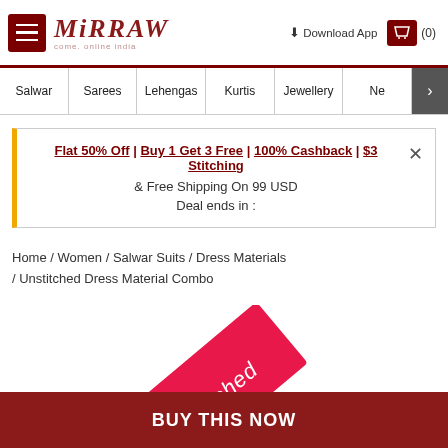Mirraw — Come Online India
Salwar | Sarees | Lehengas | Kurtis | Jewellery | Ne >
Flat 50% Off | Buy 1 Get 3 Free | 100% Cashback | $3 Stitching & Free Shipping On 99 USD Deal ends in :
Home / Women / Salwar Suits / Dress Materials / Unstitched Dress Material Combo
[Figure (illustration): Diagonal pink/red ribbon badge with white text 'Unstitched']
BUY THIS NOW